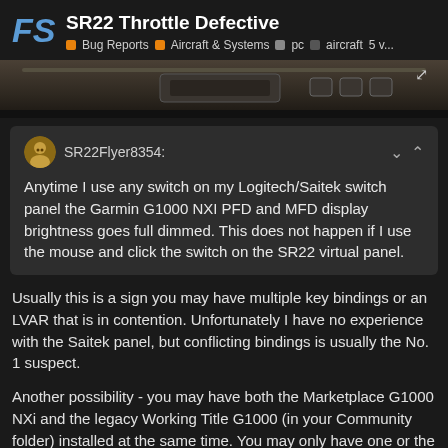SR22 Throttle Defective | Bug Reports | Aircraft & Systems | pc | aircraft | 5 v...
[Figure (screenshot): Partial screenshot of aircraft cockpit panel, dark themed]
SR22Flyer8354: Anytime I use any switch on my Logitech/Saitek switch panel the Garmin G1000 NXI PFD and MFD display brightness goes full dimmed. This does not happen if I use the mouse and click the switch on the SR22 virtual panel.
Usually this is a sign you may have multiple key bindings or an LVAR that is in contention. Unfortunately I have no experience with the Saitek panel, but conflicting bindings is usually the No. 1 suspect.
Another possibility - you may have both the Marketplace G1000 NXi and the legacy Working Title G1000 (in your Community folder) installed at the same time. You may only have one or the other at any time and need to restart the si... effect.
2 / 7